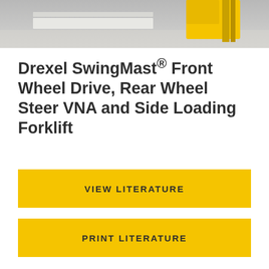[Figure (photo): Photo of a Drexel SwingMast forklift, yellow forklift visible in a warehouse setting, top portion of page]
Drexel SwingMast® Front Wheel Drive, Rear Wheel Steer VNA and Side Loading Forklift
VIEW LITERATURE
PRINT LITERATURE